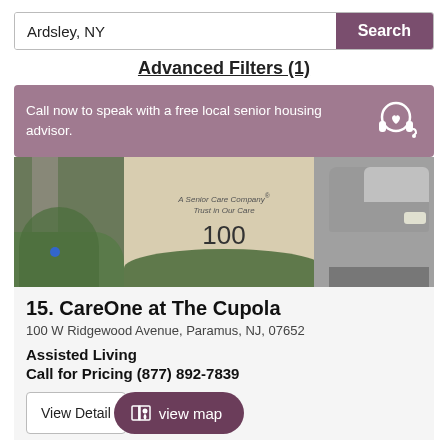Ardsley, NY
Search
Advanced Filters (1)
Call now to speak with a free local senior housing advisor.
[Figure (photo): Exterior photo of CareOne at The Cupola facility showing signage reading 'A Senior Care Company Trust in Our Care' with number 100, surrounded by landscaping and a car visible on the right]
15. CareOne at The Cupola
100 W Ridgewood Avenue, Paramus, NJ, 07652
Assisted Living
Call for Pricing (877) 892-7839
View Detail
view map